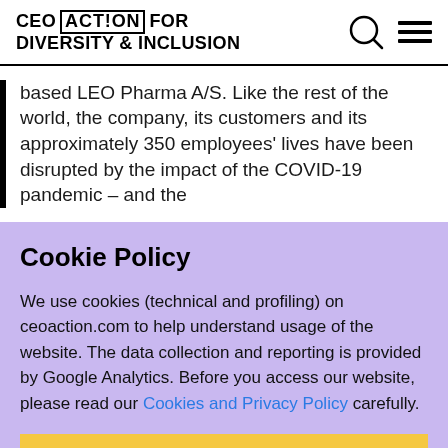CEO ACTION FOR DIVERSITY & INCLUSION
based LEO Pharma A/S. Like the rest of the world, the company, its customers and its approximately 350 employees' lives have been disrupted by the impact of the COVID-19 pandemic – and the
Cookie Policy
We use cookies (technical and profiling) on ceoaction.com to help understand usage of the website. The data collection and reporting is provided by Google Analytics. Before you access our website, please read our Cookies and Privacy Policy carefully.
ACCEPT